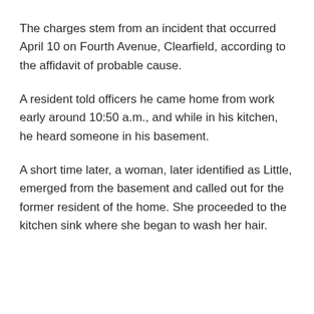The charges stem from an incident that occurred April 10 on Fourth Avenue, Clearfield, according to the affidavit of probable cause.
A resident told officers he came home from work early around 10:50 a.m., and while in his kitchen, he heard someone in his basement.
A short time later, a woman, later identified as Little, emerged from the basement and called out for the former resident of the home. She proceeded to the kitchen sink where she began to wash her hair.